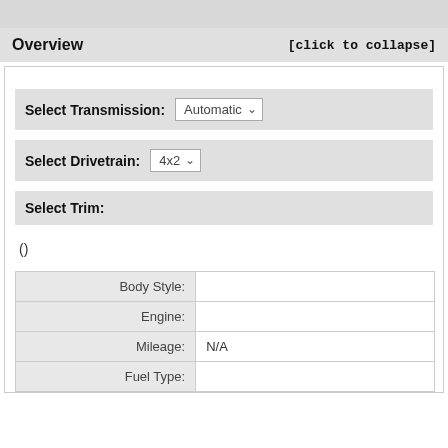Overview [click to collapse]
Select Transmission: Automatic
Select Drivetrain: 4x2
Select Trim:
()
|  |  |
| --- | --- |
| Body Style: |  |
| Engine: |  |
| Mileage: | N/A |
| Fuel Type: |  |